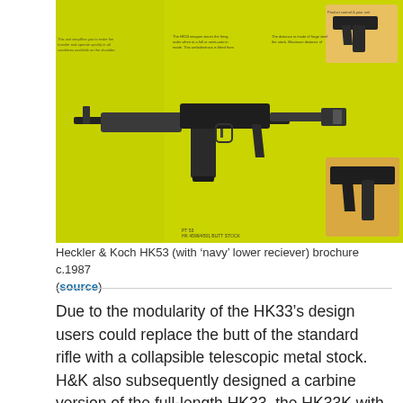[Figure (photo): Heckler & Koch HK53 with 'navy' lower receiver, shown in a yellow-green product brochure layout with multiple annotated views of the weapon and its components. Brochure circa 1987.]
Heckler & Koch HK53 (with 'navy' lower reciever) brochure c.1987 (source)
Due to the modularity of the HK33's design users could replace the butt of the standard rifle with a collapsible telescopic metal stock. H&K also subsequently designed a carbine version of the full-length HK33, the HK33K with a telescopic metal stock and 12.7 inch barrel. In the mid-1970s H&K began development an even shorter version. The result was essentially an intermediate calibre submachine gun similar to the Colt Commando and the Soviet AKS-